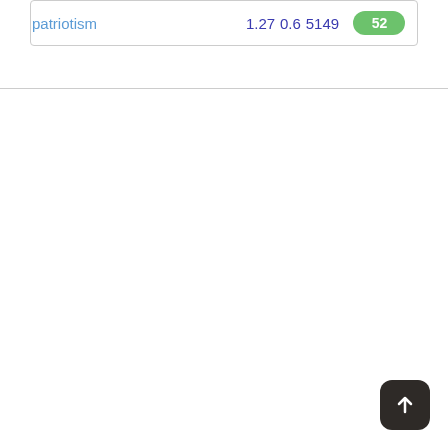| patriotism | 1.27 | 0.6 | 5149 | 52 |